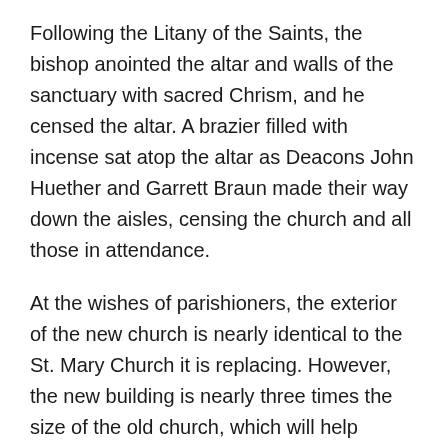Following the Litany of the Saints, the bishop anointed the altar and walls of the sanctuary with sacred Chrism, and he censed the altar. A brazier filled with incense sat atop the altar as Deacons John Huether and Garrett Braun made their way down the aisles, censing the church and all those in attendance.
At the wishes of parishioners, the exterior of the new church is nearly identical to the St. Mary Church it is replacing. However, the new building is nearly three times the size of the old church, which will help accommodate the parish’s nearly 2,500 members.
“They wanted a traditional church very close in